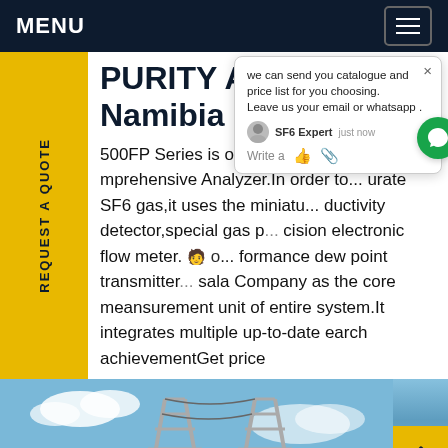MENU
PURITY ANALYZER in Namibia
500FP Series is one kind of SF6 g... mprehensive Analyzer.In order to... urate SF6 gas,it uses the miniatu... ductivity detector,special gas p... cision electronic flow meter. ... formance dew point transmitter... sala Company as the core meansurement unit of entire system.It integrates multiple up-to-date earch achievementGet price
[Figure (screenshot): Chat popup overlay showing 'we can send you catalogue and price list for you choosing. Leave us your email or whatsapp.' with SF6 Expert avatar, 'just now' timestamp, and write/like/attachment icons. Green chat bubble with notification badge (1) on right side.]
[Figure (photo): Photo of electrical power transmission towers/pylons against a blue sky with clouds.]